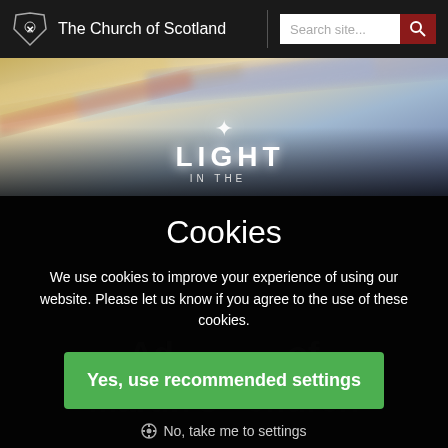The Church of Scotland
[Figure (screenshot): Hero banner image with colorful blurred pages/papers, a white star/cross symbol, and text 'LIGHT IN THE']
Cookies
We use cookies to improve your experience of using our website. Please let us know if you agree to the use of these cookies.
Yes, use recommended settings
No, take me to settings
Ad of Martin's church